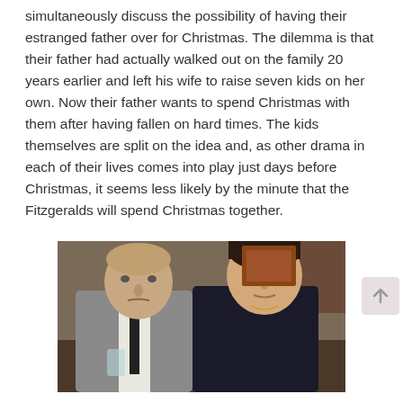simultaneously discuss the possibility of having their estranged father over for Christmas. The dilemma is that their father had actually walked out on the family 20 years earlier and left his wife to raise seven kids on her own. Now their father wants to spend Christmas with them after having fallen on hard times. The kids themselves are split on the idea and, as other drama in each of their lives comes into play just days before Christmas, it seems less likely by the minute that the Fitzgeralds will spend Christmas together.
[Figure (photo): Two men sitting together. An older man in a grey suit and black tie on the left, looking stern, and a younger man in a dark sweater on the right, looking at the camera. Indoor setting with warm lighting.]